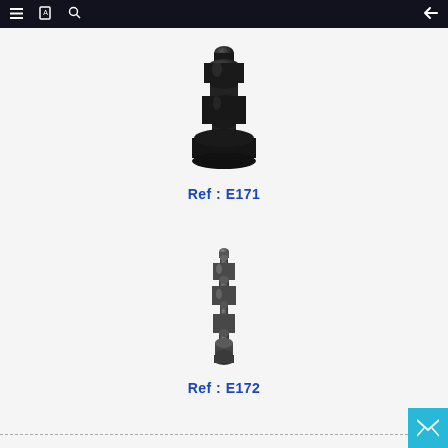navigation bar with menu, book, search icons and back arrow
[Figure (photo): Black cast iron decorative finial/baluster component, short squat shape with rounded top and wide base, product E171]
Ref : E171
[Figure (photo): Dark grey cast iron decorative baluster spindle, taller slender turned shape with multiple knob details, product E172]
Ref : E172
dashed footer line